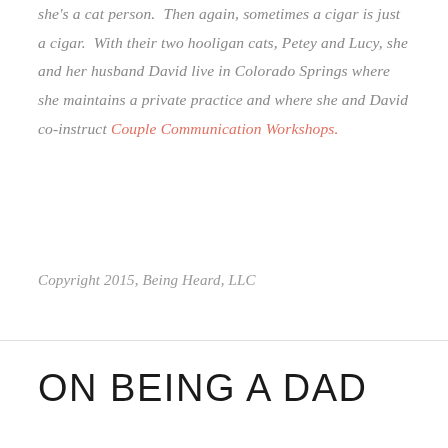she's a cat person.  Then again, sometimes a cigar is just a cigar.  With their two hooligan cats, Petey and Lucy, she and her husband David live in Colorado Springs where she maintains a private practice and where she and David co-instruct Couple Communication Workshops.
Copyright 2015, Being Heard, LLC
ON BEING A DAD